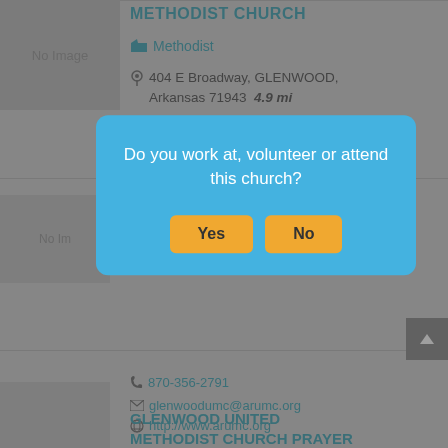[Figure (screenshot): Background listing page showing church entries with No Image placeholders, addresses, phone numbers, and contact info]
METHODIST CHURCH
Methodist
404 E Broadway, GLENWOOD, Arkansas 71943  4.9 mi
870-356-2791
870-356-2791
glenwoodumc@arumc.org
http://www.arumc.org
GLENWOOD UNITED METHODIST CHURCH PRAYER
Do you work at, volunteer or attend this church?
Yes
No